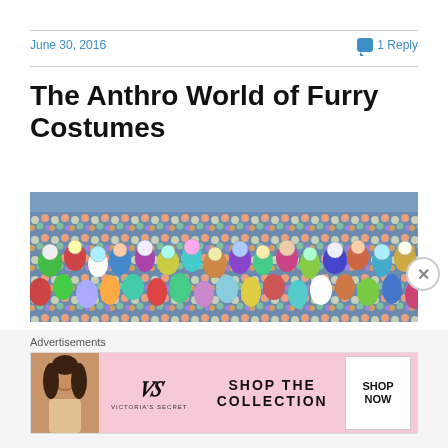June 30, 2016
1 Reply
The Anthro World of Furry Costumes
[Figure (photo): Large crowd of people wearing colorful anthropomorphic animal furry costumes/fursuits, packed tightly together filling the entire frame]
Advertisements
[Figure (other): Victoria's Secret advertisement banner showing a model, the VS logo, text reading SHOP THE COLLECTION, and a SHOP NOW button]